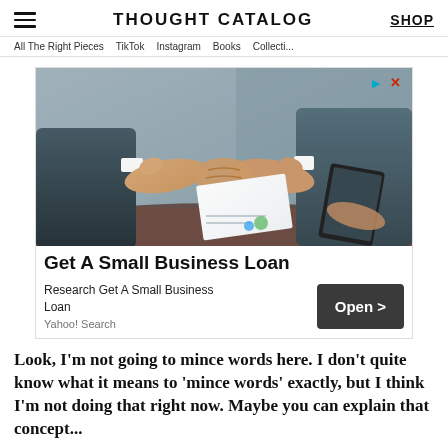THOUGHT CATALOG | SHOP
All The Right Pieces  TikTok  Instagram  Books  Collections
[Figure (photo): Advertisement photo showing two businessmen in suits shaking hands across a table, with papers and a tablet visible. Ad headline reads 'Get A Small Business Loan'. Subtext: 'Research Get A Small Business Loan / Yahoo! Search'. Button: 'Open >']
Look, I'm not going to mince words here. I don't quite know what it means to 'mince words' exactly, but I think I'm not doing that right now. Maybe you can explain that concept...